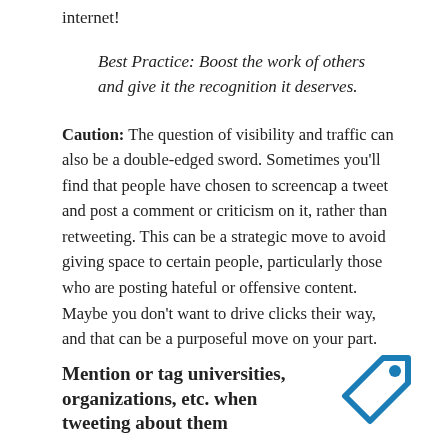internet!
Best Practice: Boost the work of others and give it the recognition it deserves.
Caution: The question of visibility and traffic can also be a double-edged sword. Sometimes you'll find that people have chosen to screencap a tweet and post a comment or criticism on it, rather than retweeting. This can be a strategic move to avoid giving space to certain people, particularly those who are posting hateful or offensive content. Maybe you don't want to drive clicks their way, and that can be a purposeful move on your part.
Mention or tag universities, organizations, etc. when tweeting about them